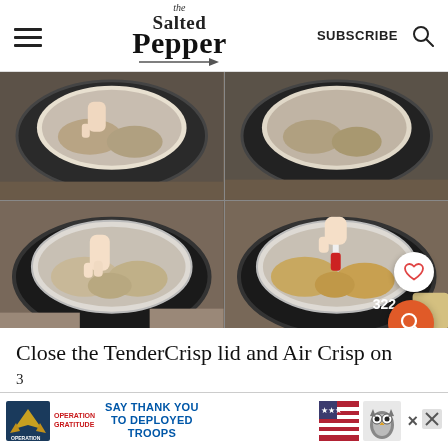the Salted Pepper — SUBSCRIBE
[Figure (photo): Four-panel photo grid showing steps of placing breaded chicken cutlets into an Instant Pot/Ninja Foodi basket (top two panels) and someone using a pastry brush/sauce brush to coat the chicken with sauce (bottom two panels).]
Close the TenderCrisp lid and Air Crisp on
3
[Figure (other): Advertisement banner: Operation Gratitude — SAY THANK YOU TO DEPLOYED TROOPS, with owl mascot graphic and close buttons.]